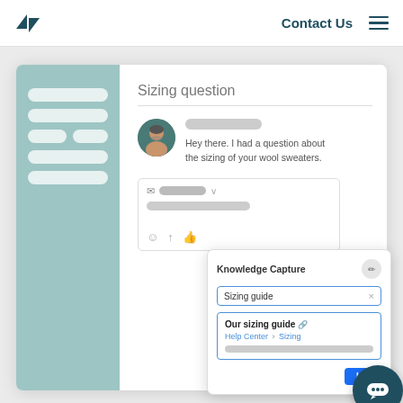[Figure (screenshot): Zendesk support interface screenshot showing a ticket titled 'Sizing question' with a customer message, a Knowledge Capture panel with 'Sizing guide' search and 'Our sizing guide' result linking to Help Center > Sizing, and a chat button. Navigation bar shows Zendesk logo, 'Contact Us' link, and hamburger menu.]